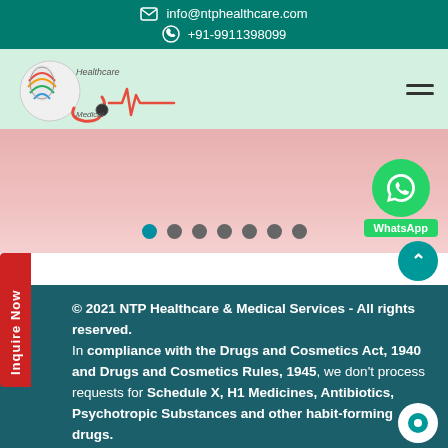info@ntphealthcare.com  +91-9911398099
[Figure (logo): NTP Healthcare & Medical Services logo with stethoscope and heartbeat line]
[Figure (other): Image slider with 7 pagination dots; active dot is teal/cyan colored, rest are gray. WhatsApp green button on right.]
2021 NTP Healthcare & Medical Services - All rights reserved. In compliance with the Drugs and Cosmetics Act, 1940 and Drugs and Cosmetics Rules, 1945, we don't process requests for Schedule X, H1 Medicines, Antibiotics, Psychotropic Substances and other habit-forming drugs.